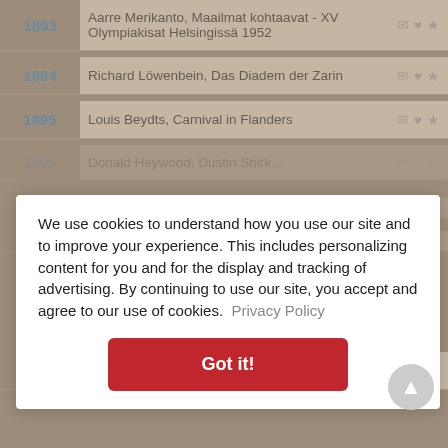1893 — Aarre Merikanto, Maailmat kohtaavat - XV Olympiakisat Helsingissä 1952
1894 — Richard Löwenbein, Das Diadem der Zarin
1895 — Louis Beydts, Carnival in Flanders
1895 — [partially visible entry]
We use cookies to understand how you use our site and to improve your experience. This includes personalizing content for you and for the display and tracking of advertising. By continuing to use our site, you accept and agree to our use of cookies.  Privacy Policy
1897 — Ottmar Gerster, composer